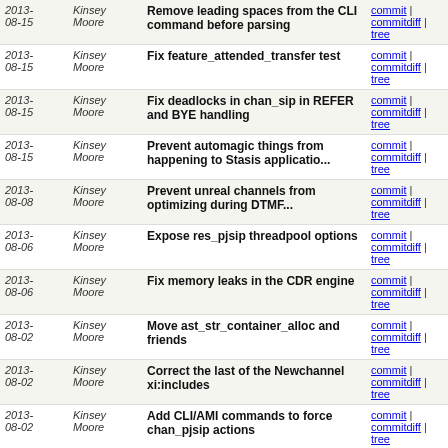| Date | Author | Message | Links |
| --- | --- | --- | --- |
| 2013-08-15 | Kinsey Moore | Remove leading spaces from the CLI command before parsing | commit | commitdiff | tree |
| 2013-08-15 | Kinsey Moore | Fix feature_attended_transfer test | commit | commitdiff | tree |
| 2013-08-15 | Kinsey Moore | Fix deadlocks in chan_sip in REFER and BYE handling | commit | commitdiff | tree |
| 2013-08-15 | Kinsey Moore | Prevent automagic things from happening to Stasis applicatio... | commit | commitdiff | tree |
| 2013-08-08 | Kinsey Moore | Prevent unreal channels from optimizing during DTMF... | commit | commitdiff | tree |
| 2013-08-06 | Kinsey Moore | Expose res_pjsip threadpool options | commit | commitdiff | tree |
| 2013-08-06 | Kinsey Moore | Fix memory leaks in the CDR engine | commit | commitdiff | tree |
| 2013-08-02 | Kinsey Moore | Move ast_str_container_alloc and friends | commit | commitdiff | tree |
| 2013-08-02 | Kinsey Moore | Correct the last of the Newchannel xi:includes | commit | commitdiff | tree |
| 2013-08-02 | Kinsey Moore | Add CLI/AMI commands to force chan_pjsip actions | commit | commitdiff | tree |
| 2013-08-01 | Kinsey Moore | Regenerate configure for configure.ac changes | commit | commitdiff | tree |
| 2013-08-01 | Kinsey Moore | Fix documentation replication issues | commit | commitdiff | tree |
| 2013-07-31 | Kinsey Moore | Disable CEL tests that need rearchitecting to operate... | commit | commitdiff | tree |
| 2013- | Kinsey Moore | Fix remnants of the pjsip renaming | commit |